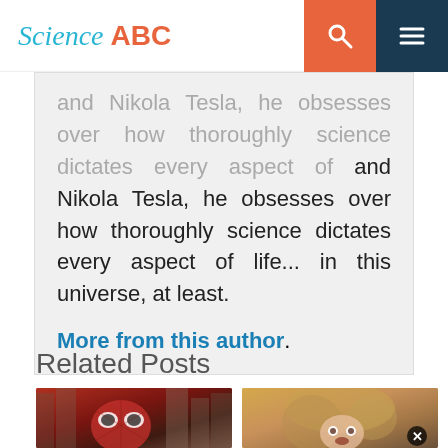Science ABC
and Nikola Tesla, he obsesses over how thoroughly science dictates every aspect of life... in this universe, at least.

More from this author.
Related Posts
[Figure (photo): Spider-Man in red suit in a city setting]
[Figure (photo): Blonde woman (Gwen Stacy) with surprised expression, close-up face]